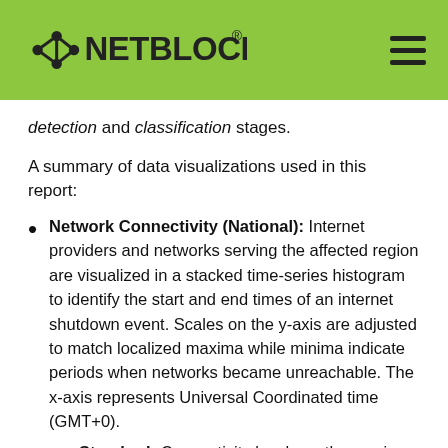NETBLOCKS
detection and classification stages.
A summary of data visualizations used in this report:
Network Connectivity (National): Internet providers and networks serving the affected region are visualized in a stacked time-series histogram to identify the start and end times of an internet shutdown event. Scales on the y-axis are adjusted to match localized maxima while minima indicate periods when networks became unreachable. The x-axis represents Universal Coordinated time (GMT+0).
Standard: Connectivity levels on the y-axis correspond directly to the observed number of reachable connections, as with National